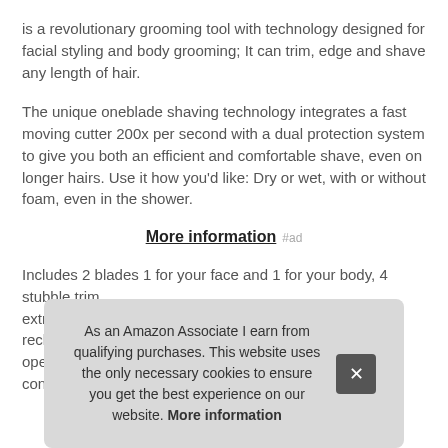is a revolutionary grooming tool with technology designed for facial styling and body grooming; It can trim, edge and shave any length of hair.
The unique oneblade shaving technology integrates a fast moving cutter 200x per second with a dual protection system to give you both an efficient and comfortable shave, even on longer hairs. Use it how you'd like: Dry or wet, with or without foam, even in the shower.
More information #ad
Includes 2 blades 1 for your face and 1 for your body, 4 stubble trim extra rech ope con
As an Amazon Associate I earn from qualifying purchases. This website uses the only necessary cookies to ensure you get the best experience on our website. More information